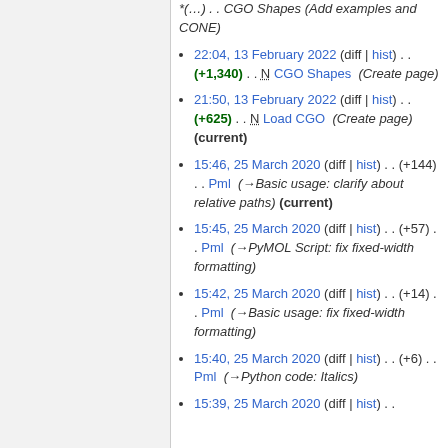(Create page) (examples and CONE)
22:04, 13 February 2022 (diff | hist) . . (+1,340) . . N CGO Shapes (Create page)
21:50, 13 February 2022 (diff | hist) . . (+625) . . N Load CGO (Create page) (current)
15:46, 25 March 2020 (diff | hist) . . (+144) . . Pml (→Basic usage: clarify about relative paths) (current)
15:45, 25 March 2020 (diff | hist) . . (+57) . . Pml (→PyMOL Script: fix fixed-width formatting)
15:42, 25 March 2020 (diff | hist) . . (+14) . . Pml (→Basic usage: fix fixed-width formatting)
15:40, 25 March 2020 (diff | hist) . . (+6) . . Pml (→Python code: Italics)
15:39, 25 March 2020 (diff | hist) . . .